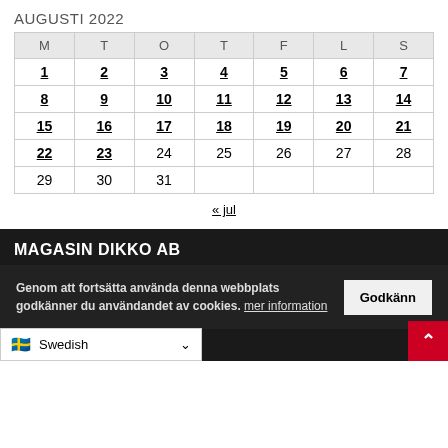AUGUSTI 2022
| M | T | O | T | F | L | S |
| --- | --- | --- | --- | --- | --- | --- |
| 1 | 2 | 3 | 4 | 5 | 6 | 7 |
| 8 | 9 | 10 | 11 | 12 | 13 | 14 |
| 15 | 16 | 17 | 18 | 19 | 20 | 21 |
| 22 | 23 | 24 | 25 | 26 | 27 | 28 |
| 29 | 30 | 31 |  |  |  |  |
« jul
MAGASIN DIKKO AB
Orgnr: 559214-5761
Ansvarig utgivare:
Bri...
E-p...
Genom att fortsätta använda denna webbplats godkänner du användandet av cookies. mer information  Godkänn
Swedish